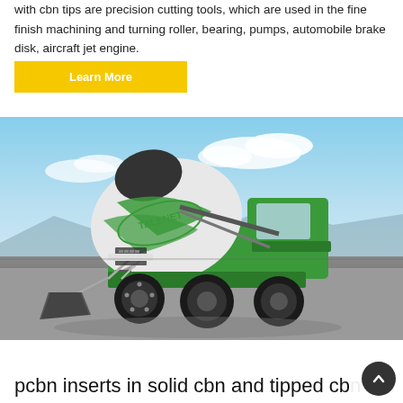with cbn tips are precision cutting tools, which are used in the fine finish machining and turning roller, bearing, pumps, automobile brake disk, aircraft jet engine.
[Figure (photo): A green and white TALENET self-loading concrete mixer truck parked on an open paved surface under a blue sky.]
pcbn inserts in solid cbn and tipped cb...